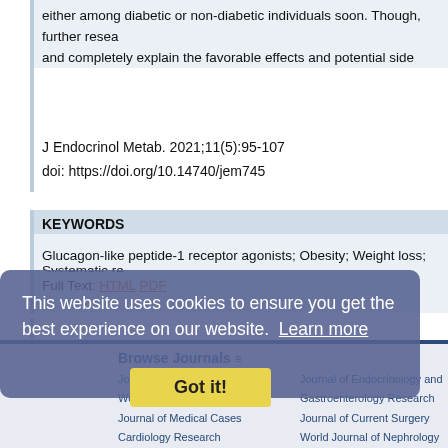either among diabetic or non-diabetic individuals soon. Though, further research and completely explain the favorable effects and potential side effects of GLP-1
J Endocrinol Metab. 2021;11(5):95-107
doi: https://doi.org/10.14740/jem745
KEYWORDS
Glucagon-like peptide-1 receptor agonists; Obesity; Weight loss; Systematic re
Full Text: HTML PDF
This website uses cookies to ensure you get the best experience on our website. Learn more
Got it!
Browse Journals
Journal of Clinical Medicine
World Journal of Oncology
Journal of Medical Cases
Cardiology Research
Journal of Endocrinology and
Gastroenterology Research
Journal of Current Surgery
World Journal of Nephrology